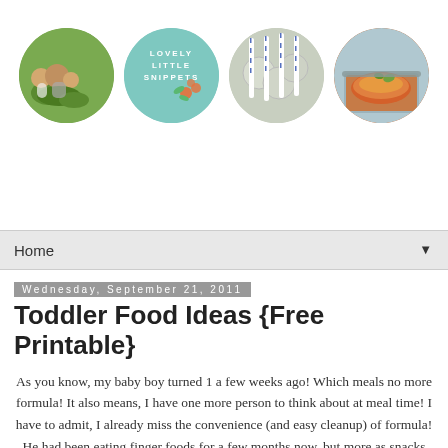[Figure (illustration): Blog header with four circular images in a row: a family outdoors, a teal logo reading 'Lovely Little Snippets', a drinks/straws photo, and a food/casserole photo.]
Home ▼
Wednesday, September 21, 2011
Toddler Food Ideas {Free Printable}
As you know, my baby boy turned 1 a few weeks ago! Which meals no more formula! It also means, I have one more person to think about at meal time! I have to admit, I already miss the convenience (and easy cleanup) of formula! He had been eating finger foods for a few months now, but more as snacks than on a regular basis. So when my doctor